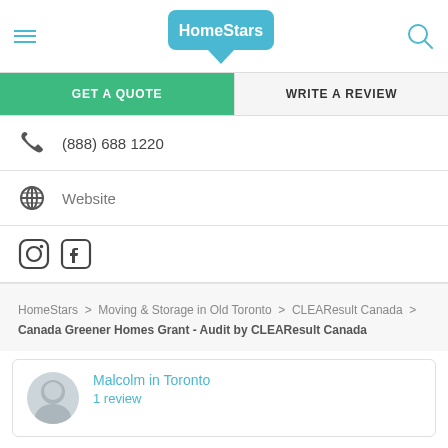HomeStars
GET A QUOTE | WRITE A REVIEW
(888) 688 1220
Website
Instagram Facebook (social icons)
HomeStars > Moving & Storage in Old Toronto > CLEAResult Canada > Canada Greener Homes Grant - Audit by CLEAResult Canada
Malcolm in Toronto
1 review